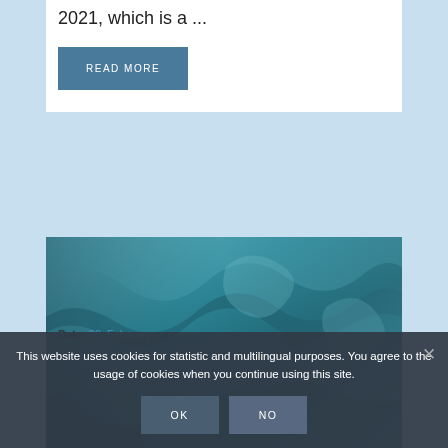2021, which is a ...
READ MORE
[Figure (photo): Abstract teal/blue water or aerial texture image used as article thumbnail]
Date: 26. February
This website uses cookies for statistic and multilingual purposes. You agree to the usage of cookies when you continue using this site.
OK
NO